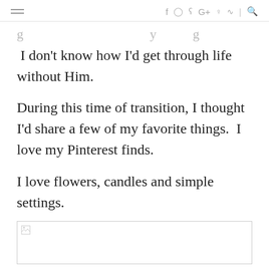≡  f  ○  ʏ  G+  ℗  )))  |  🔍
g … y g
I don't know how I'd get through life without Him.
During this time of transition, I thought I'd share a few of my favorite things.  I love my Pinterest finds.
I love flowers, candles and simple settings.
[Figure (photo): Broken image placeholder — a small image icon with border, content not loaded]